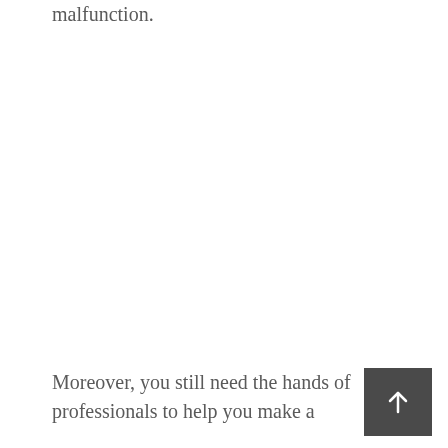malfunction.
Moreover, you still need the hands of professionals to help you make a